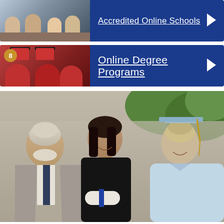[Figure (screenshot): Navigation banner item — thumbnail of students at a table on left, blue background with underlined white text 'Accredited Online Schools' and right-pointing arrow]
[Figure (screenshot): Navigation banner item #8 — thumbnail of smiling graduates in red caps and gowns on left with gold badge '8', blue background, underlined white text 'Online Degree Programs' and right-pointing arrow]
[Figure (photo): Photograph of three smiling people: an older man in a grey suit, a young woman holding a diploma with blue ribbon, and an older woman in a light blue graduation cap and gown with gold tassel]